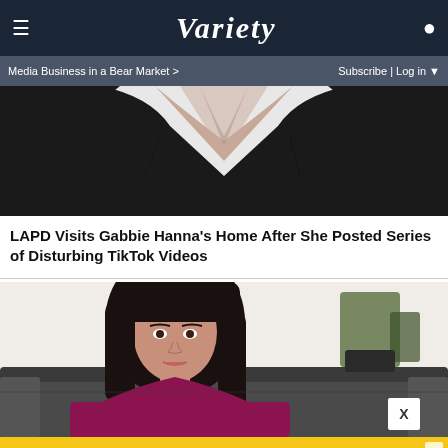VARIETY — Media Business in a Bear Market > | Subscribe | Log in
[Figure (photo): Cropped photo of person wearing a black off-shoulder long-sleeve dress against a white background]
LAPD Visits Gabbie Hanna's Home After She Posted Series of Disturbing TikTok Videos
[Figure (photo): Photo of a young woman with long dark hair wearing a magenta/dark pink top, seated on a dark grey couch in front of a white wall with plants]
[Figure (other): Advertisement: 5-STAR CORDLESS DRILL ON SALE AT AMAZON — SPY logo on yellow background]